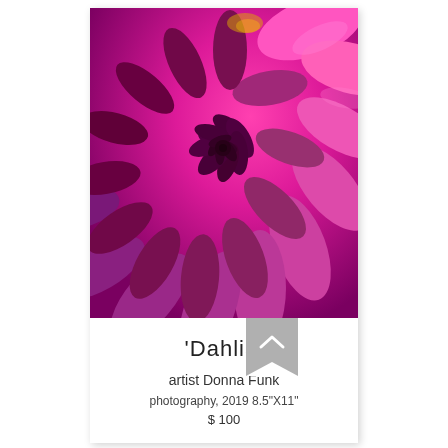[Figure (photo): Close-up macro photograph of a dahlia flower with vivid magenta/purple petals radiating from a tight spiral center]
'Dahlia'
artist Donna Funk
photography, 2019 8.5"X11"
$ 100